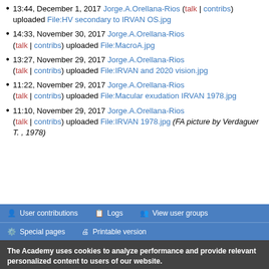13:44, December 1, 2017 Jorge.A.Orellana-Rios (talk | contribs) uploaded File:HV secondary to IRVAN OS.jpg
14:33, November 30, 2017 Jorge.A.Orellana-Rios (talk | contribs) uploaded File:MacroA.jpg
13:27, November 29, 2017 Jorge.A.Orellana-Rios (talk | contribs) uploaded File:IRVAN and 2020 vision.jpg
11:22, November 29, 2017 Jorge.A.Orellana-Rios (talk | contribs) uploaded File:Macular exudation IRVAN 1978.jpg
11:10, November 29, 2017 Jorge.A.Orellana-Rios (talk | contribs) uploaded File:IRVAN 1978.jpg (FA picture by Verdaguer T. , 1978)
User contributions | Logs | View user groups | Special pages | Printable version
The Academy uses cookies to analyze performance and provide relevant personalized content to users of our website.